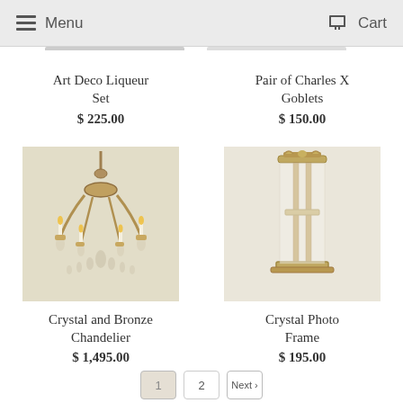Menu   Cart
Art Deco Liqueur Set
$ 225.00
Pair of Charles X Goblets
$ 150.00
[Figure (photo): Crystal and Bronze Chandelier product photo on cream background]
Crystal and Bronze Chandelier
$ 1,495.00
[Figure (photo): Crystal Photo Frame product photo on cream background]
Crystal Photo Frame
$ 195.00